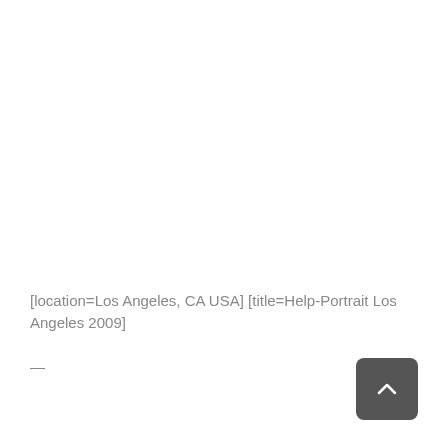[location=Los Angeles, CA USA] [title=Help-Portrait Los Angeles 2009]
—